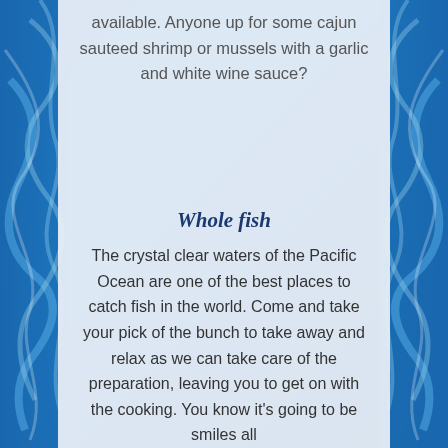available. Anyone up for some cajun sauteed shrimp or mussels with a garlic and white wine sauce?
Whole fish
The crystal clear waters of the Pacific Ocean are one of the best places to catch fish in the world. Come and take your pick of the bunch to take away and relax as we can take care of the preparation, leaving you to get on with the cooking. You know it's going to be smiles all